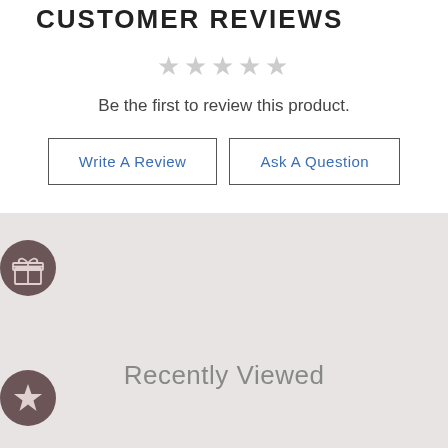CUSTOMER REVIEWS
★★★★★
Be the first to review this product.
Write A Review | Ask A Question
[Figure (illustration): Gift box icon in a dark brown/mauve circle, positioned on the left edge between the white and gray sections]
Recently Viewed
[Figure (illustration): Star icon in a dark brown/mauve circle, positioned on the left edge in the lower gray section]